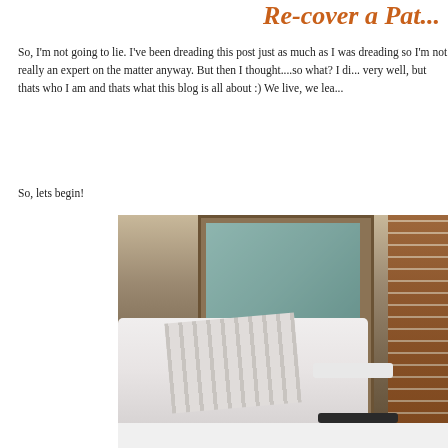Re-cover a Pat...
So, I'm not going to lie. I've been dreading this post just as much as I was dreading so I'm not really an expert on the matter anyway. But then I thought....so what? I di... very well, but thats who I am and thats what this blog is all about :) We live, we lea...
So, lets begin!
[Figure (photo): Photo of a patio/porch area showing a sliding glass door with brown frame, teal curtains visible inside, a white/light colored chair with striped and patterned cushions in the foreground, and a brick wall/fireplace on the right side. Snow or white ground visible at bottom.]